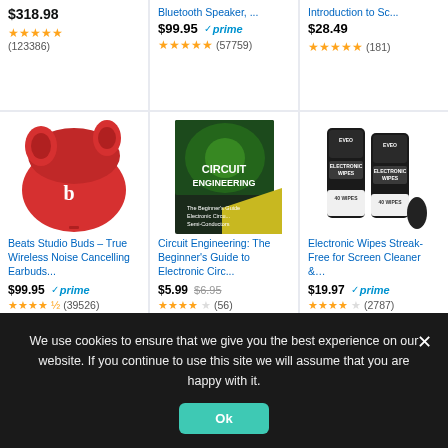$318.98 ★★★★★ (123386)
$99.95 ✓prime Bluetooth Speaker,... ★★★★★ (57759)
$28.49 Introduction to Sc... ★★★★★ (181)
[Figure (photo): Beats Studio Buds red earbuds in charging case]
Beats Studio Buds – True Wireless Noise Cancelling Earbuds...
$99.95 ✓prime ★★★★☆ (39526)
[Figure (photo): Circuit Engineering book cover - The Beginner's Guide to Electronic Circuits]
Circuit Engineering: The Beginner's Guide to Electronic Circ...
$5.99 $6.95 ★★★★☆ (56)
[Figure (photo): Electronic Wipes product - two black canisters with 40 wipes each]
Electronic Wipes Streak-Free for Screen Cleaner &…
$19.97 ✓prime ★★★★☆ (2787)
We use cookies to ensure that we give you the best experience on our website. If you continue to use this site we will assume that you are happy with it.